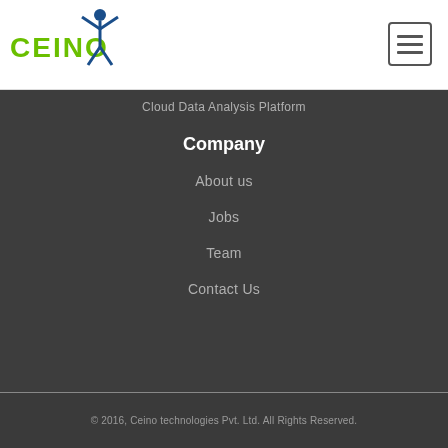[Figure (logo): CEINO logo with green text and blue stick figure person with arms raised]
[Figure (other): Hamburger menu button (three horizontal lines in a rounded rectangle border)]
Cloud Data Analysis Platform
Company
About us
Jobs
Team
Contact Us
© 2016, Ceino technologies Pvt. Ltd. All Rights Reserved.